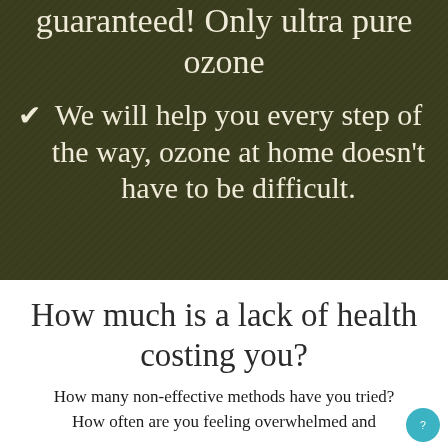guaranteed! Only ultra pure ozone
✔ We will help you every step of the way, ozone at home doesn't have to be difficult.
How much is a lack of health costing you?
How many non-effective methods have you tried? How often are you feeling overwhelmed and